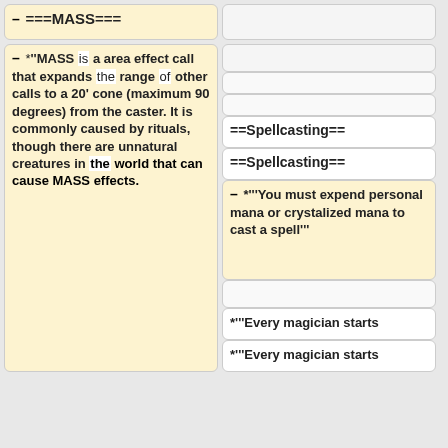– ===MASS===
– *'''MASS is a area effect call that expands the range of other calls to a 20' cone (maximum 90 degrees) from the caster. It is commonly caused by rituals, though there are unnatural creatures in the world that can cause MASS effects.
==Spellcasting==
==Spellcasting==
– *'''You must expend personal mana or crystalized mana to cast a spell'''
*'''Every magician starts
*'''Every magician starts